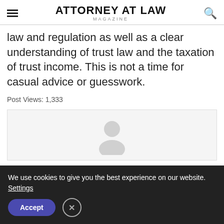ATTORNEY AT LAW MAGAZINE
law and regulation as well as a clear understanding of trust law and the taxation of trust income. This is not a time for casual advice or guesswork.
Post Views: 1,333
[Figure (illustration): Gray avatar/profile placeholder icon on light gray card background]
We use cookies to give you the best experience on our website. Settings